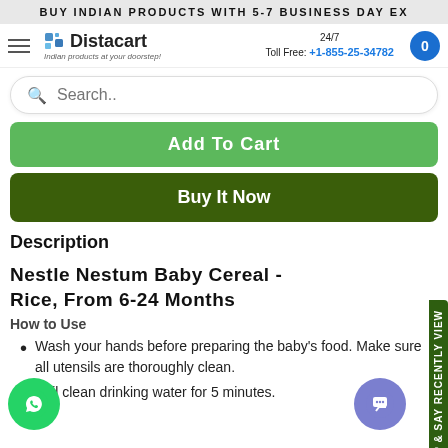BUY INDIAN PRODUCTS WITH 5-7 BUSINESS DAY EX
[Figure (logo): Distacart logo with hamburger menu and cart button. 24/7 Toll Free: +1-855-25-34782]
[Figure (screenshot): Search bar with placeholder text 'Search..']
Add To Cart
Buy It Now
Description
Nestle Nestum Baby Cereal - Rice, From 6-24 Months
How to Use
Wash your hands before preparing the baby's food. Make sure all utensils are thoroughly clean.
Boil clean drinking water for 5 minutes.